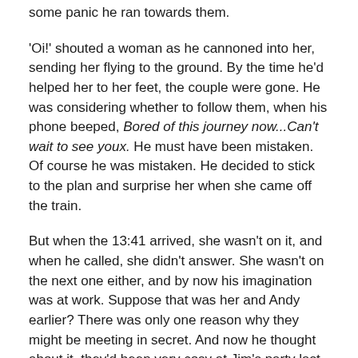some panic he ran towards them.
'Oi!' shouted a woman as he cannoned into her, sending her flying to the ground. By the time he'd helped her to her feet, the couple were gone. He was considering whether to follow them, when his phone beeped, Bored of this journey now...Can't wait to see youx. He must have been mistaken. Of course he was mistaken. He decided to stick to the plan and surprise her when she came off the train.
But when the 13:41 arrived, she wasn't on it, and when he called, she didn't answer. She wasn't on the next one either, and by now his imagination was at work. Suppose that was her and Andy earlier? There was only one reason why they might be meeting in secret. And now he thought about it, they'd been very cosy at Jim's party last week.
There was only one course of action open to him. He threw the flowers in the bin, ran down to the tube, and jumped on the Piccadilly line. Stay calm, he told